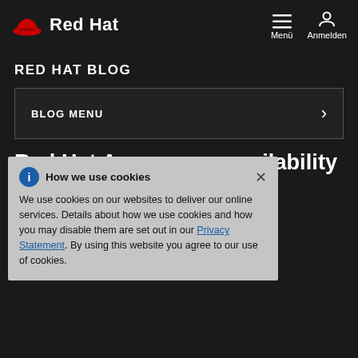Red Hat — Menü — Anmelden
RED HAT BLOG
BLOG MENU ›
Red Hat Announces availability of Hibernate Search 3.1 community project on JBoss.org
How we use cookies — We use cookies on our websites to deliver our online services. Details about how we use cookies and how you may disable them are set out in our Privacy Statement. By using this website you agree to our use of cookies.
17. Dezember 2008 | JBoss team